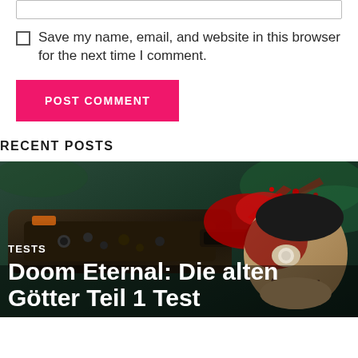Save my name, email, and website in this browser for the next time I comment.
POST COMMENT
RECENT POSTS
[Figure (photo): Action game screenshot showing a mechanical weapon blasting a zombie-like enemy head with blood splatter, green environment background]
TESTS
Doom Eternal: Die alten Götter Teil 1 Test